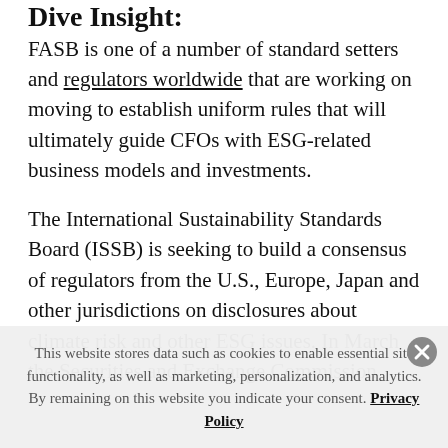Dive Insight:
FASB is one of a number of standard setters and regulators worldwide that are working on moving to establish uniform rules that will ultimately guide CFOs with ESG-related business models and investments.
The International Sustainability Standards Board (ISSB) is seeking to build a consensus of regulators from the U.S., Europe, Japan and other jurisdictions on disclosures about climate risk and other ESG issues. In March the Securities and Exchange Commission
This website stores data such as cookies to enable essential site functionality, as well as marketing, personalization, and analytics. By remaining on this website you indicate your consent. Privacy Policy